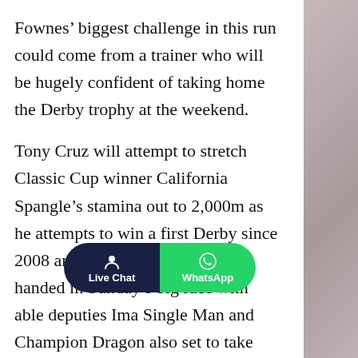Fownes' biggest challenge in this run could come from a trainer who will be hugely confident of taking home the Derby trophy at the weekend.
Tony Cruz will attempt to stretch Classic Cup winner California Spangle's stamina out to 2,000m as he attempts to win a first Derby since 2008 and he is likely to be three-handed in Sunday's big race with able deputies Ima Single Man and Champion Dragon also set to take part.
[Figure (infographic): A pill-shaped floating button bar split into two halves: left half dark navy with a person/user icon and text 'Live Chat', right half green with WhatsApp logo icon and text 'WhatsApp']
He's taking th Mercurial, who is seeking back-to-back